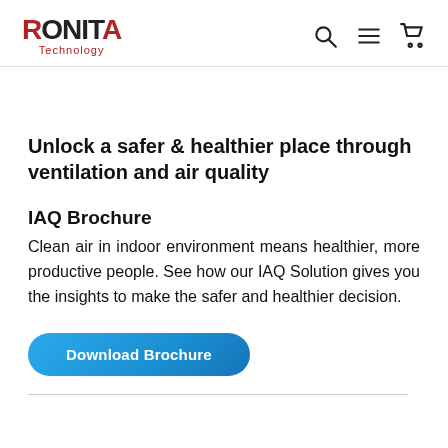RONITA Technology
Unlock a safer & healthier place through ventilation and air quality
IAQ Brochure
Clean air in indoor environment means healthier, more productive people. See how our IAQ Solution gives you the insights to make the safer and healthier decision.
Download Brochure